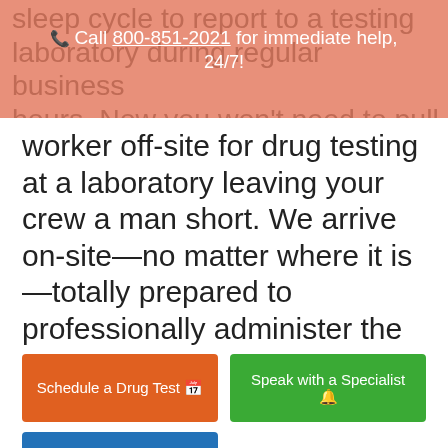sleep cycle to report to a testing laboratory during regular business hours. Now you won't need to pull a
Call 800-851-2021 for immediate help, 24/7!
worker off-site for drug testing at a laboratory leaving your crew a man short. We arrive on-site—no matter where it is—totally prepared to professionally administer the test.
Schedule a Drug Test
Speak with a Specialist
Contact us Online